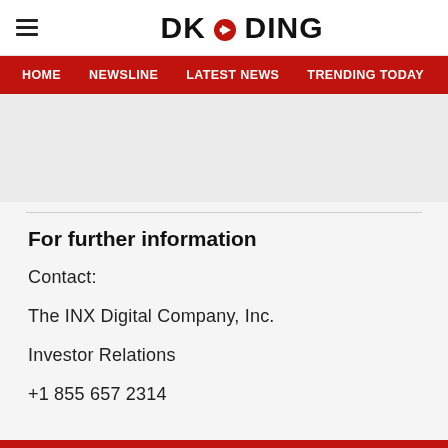DKODING
HOME  NEWSLINE  LATEST NEWS  TRENDING TODAY  ENT
For further information
Contact:
The INX Digital Company, Inc.
Investor Relations
+1 855 657 2314